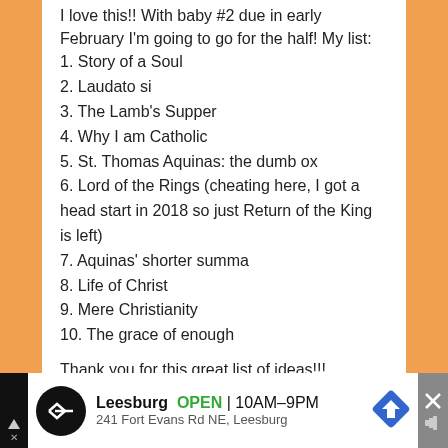I love this!! With baby #2 due in early February I'm going to go for the half! My list:
1. Story of a Soul
2. Laudato si
3. The Lamb's Supper
4. Why I am Catholic
5. St. Thomas Aquinas: the dumb ox
6. Lord of the Rings (cheating here, I got a head start in 2018 so just Return of the King is left)
7. Aquinas' shorter summa
8. Life of Christ
9. Mere Christianity
10. The grace of enough
Thank you for this great list of ideas!!!
Reply